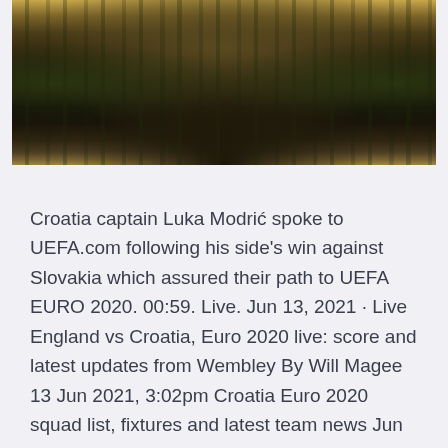[Figure (photo): A forest scene photograph showing tall conifer trees with golden/amber light from above, dark moody tones with misty background]
Croatia captain Luka Modrić spoke to UEFA.com following his side's win against Slovakia which assured their path to UEFA EURO 2020. 00:59. Live. Jun 13, 2021 · Live England vs Croatia, Euro 2020 live: score and latest updates from Wembley By Will Magee 13 Jun 2021, 3:02pm Croatia Euro 2020 squad list, fixtures and latest team news Jun 04, 2021 · The digital travelcard entitles you to use selected public transport services for free on the day of your game.